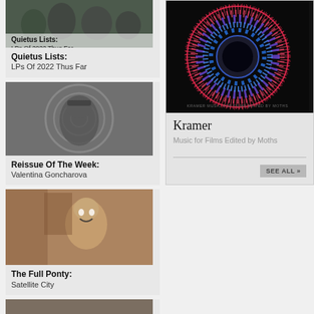[Figure (photo): Black and white photo of a group of people outdoors]
Quietus Lists:
LPs Of 2022 Thus Far
[Figure (photo): Black and white photo of a woman with a headband against a spiral background]
Reissue Of The Week:
Valentina Goncharova
[Figure (photo): Color photo of a woman with short hair making a surprised/excited face]
The Full Ponty:
Satellite City
[Figure (photo): Partial photo at bottom, cropped]
[Figure (photo): Donut/ring shaped colourful image on black background - album artwork for Kramer]
Kramer
Music for Films Edited by Moths
SEE ALL »